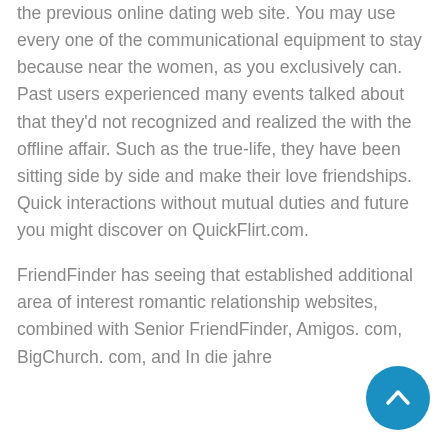the previous online dating web site. You may use every one of the communicational equipment to stay because near the women, as you exclusively can. Past users experienced many events talked about that they'd not recognized and realized the with the offline affair. Such as the true-life, they have been sitting side by side and make their love friendships. Quick interactions without mutual duties and future you might discover on QuickFlirt.com.
FriendFinder has seeing that established additional area of interest romantic relationship websites, combined with Senior FriendFinder, Amigos. com, BigChurch. com, and In die jahre...